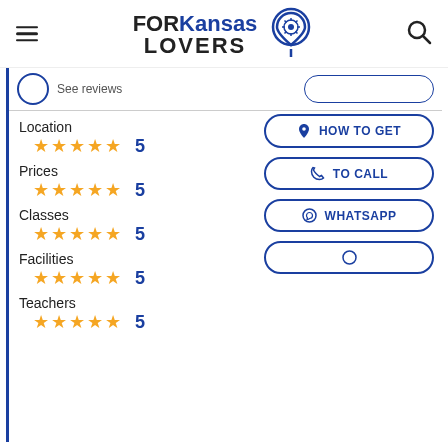[Figure (logo): FORKansas LOVERS logo with location pin icon]
See reviews
Location ★★★★★ 5
Prices ★★★★★ 5
Classes ★★★★★ 5
Facilities ★★★★★ 5
Teachers ★★★★★ 5
HOW TO GET
TO CALL
WHATSAPP